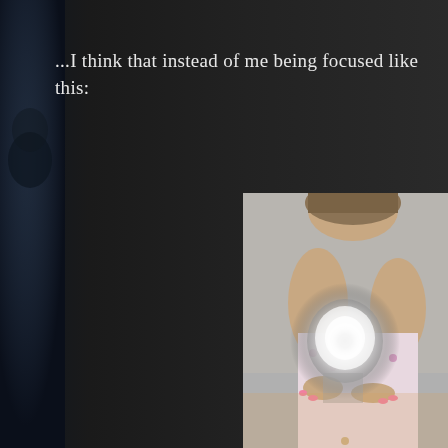...I think that instead of me being focused like this:
[Figure (photo): A woman holding a gun pointed directly at the camera, with the barrel creating a blurred bright circular light effect in the foreground. The woman has pink nail polish and is wearing a floral top. The image is taken from a first-person perspective looking down the barrel of the gun.]